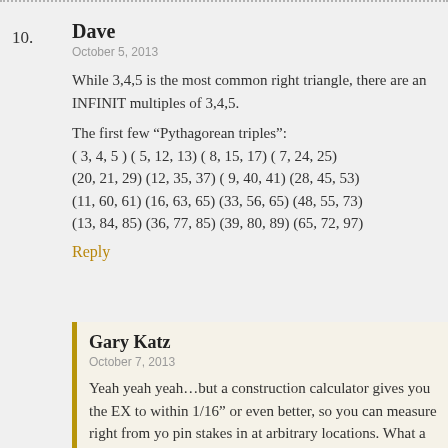10. Dave
October 5, 2013
While 3,4,5 is the most common right triangle, there are an INFINIT multiples of 3,4,5.

The first few “Pythagorean triples”:
( 3, 4, 5 ) ( 5, 12, 13) ( 8, 15, 17) ( 7, 24, 25)
(20, 21, 29) (12, 35, 37) ( 9, 40, 41) (28, 45, 53)
(11, 60, 61) (16, 63, 65) (33, 56, 65) (48, 55, 73)
(13, 84, 85) (36, 77, 85) (39, 80, 89) (65, 72, 97)
Reply
Gary Katz
October 7, 2013
Yeah yeah yeah…but a construction calculator gives you the EX to within 1/16” or even better, so you can measure right from yo pin stakes in at arbitrary locations. What a time saver. And far fa Gary